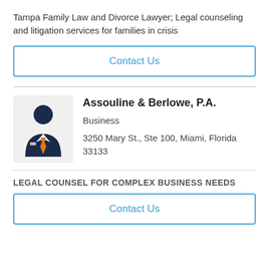Tampa Family Law and Divorce Lawyer; Legal counseling and litigation services for families in crisis
Contact Us
[Figure (illustration): Business person avatar icon: dark navy blue suit with orange tie on light gray background square]
Assouline & Berlowe, P.A.
Business
3250 Mary St., Ste 100, Miami, Florida 33133
LEGAL COUNSEL FOR COMPLEX BUSINESS NEEDS
Contact Us